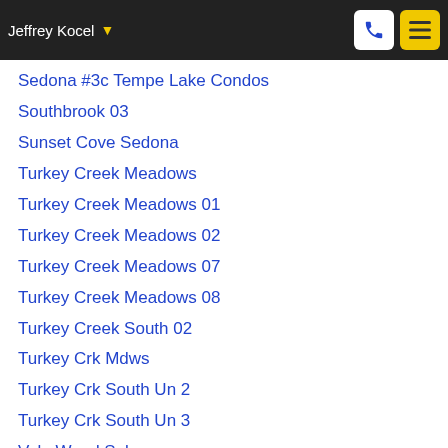Jeffrey Kocel
Sedona #3c Tempe Lake Condos
Southbrook 03
Sunset Cove Sedona
Turkey Creek Meadows
Turkey Creek Meadows 01
Turkey Creek Meadows 02
Turkey Creek Meadows 07
Turkey Creek Meadows 08
Turkey Creek South 02
Turkey Crk Mdws
Turkey Crk South Un 2
Turkey Crk South Un 3
Vale Wood Sub
Watertower Park
Westbrook 01
Westwood